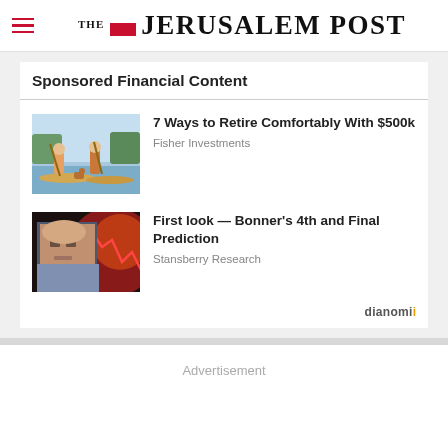THE JERUSALEM POST
Sponsored Financial Content
7 Ways to Retire Comfortably With $500k
Fisher Investments
First look — Bonner's 4th and Final Prediction
Stansberry Research
Dianomi
Advertisement